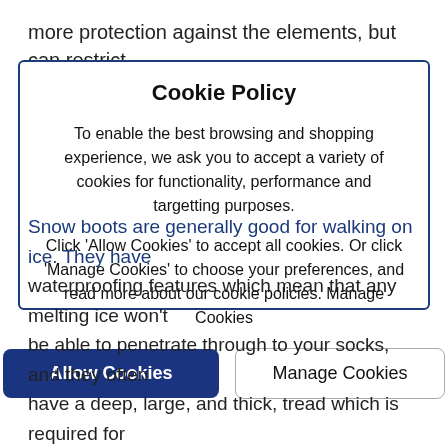more protection against the elements, but can restrict
Cookie Policy
To enable the best browsing and shopping experience, we ask you to accept a variety of cookies for functionality, performance and targetting purposes.
Click 'Allow Cookies' to accept all cookies. Or click 'Manage Cookies' to choose your preferences, and read more about our cookie policies. Manage Cookies
Snow boots are generally good for walking on ice. They have waterproofing features which mean that any melting ice won't be able to penetrate through to your socks, and they often have a deep, large, and thick, tread which is required for